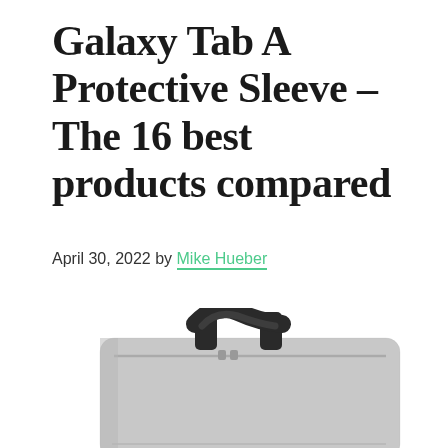Galaxy Tab A Protective Sleeve – The 16 best products compared
April 30, 2022 by Mike Hueber
[Figure (photo): A gray fabric tablet/laptop sleeve with a dark carry handle on top, photographed against a white background. The sleeve has a zipper and appears to be a Galaxy Tab A protective sleeve product.]